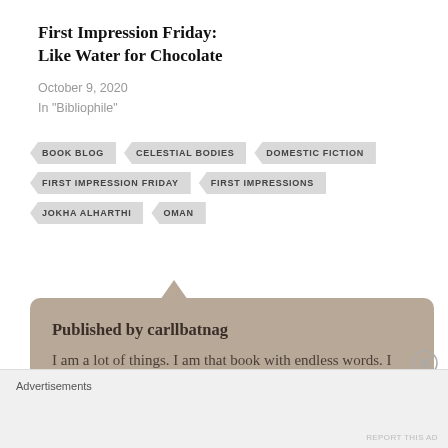First Impression Friday: Like Water for Chocolate
October 9, 2020
In "Bibliophile"
BOOK BLOG
CELESTIAL BODIES
DOMESTIC FICTION
FIRST IMPRESSION FRIDAY
FIRST IMPRESSIONS
JOKHA ALHARTHI
OMAN
Published by carllbatnag
I am a lot of things. I am that book with endless words. I am that pen that never ceases
Advertisements